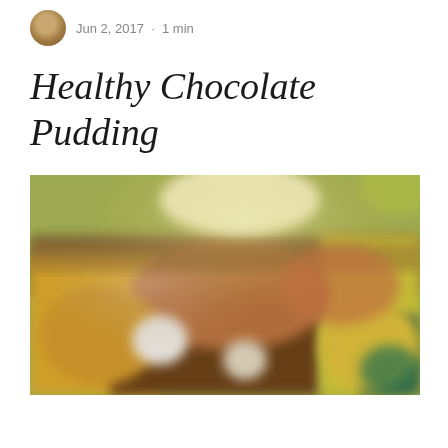Jun 2, 2017 · 1 min
Healthy Chocolate Pudding
[Figure (photo): Blurred photograph of food items including what appears to be chocolate pudding and various fruits/vegetables on a table, with a greenish background.]